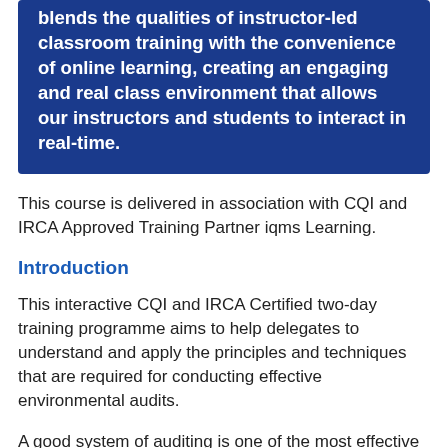blends the qualities of instructor-led classroom training with the convenience of online learning, creating an engaging and real class environment that allows our instructors and students to interact in real-time.
This course is delivered in association with CQI and IRCA Approved Training Partner iqms Learning.
Introduction
This interactive CQI and IRCA Certified two-day training programme aims to help delegates to understand and apply the principles and techniques that are required for conducting effective environmental audits.
A good system of auditing is one of the most effective methods of ensuring that the Environmental